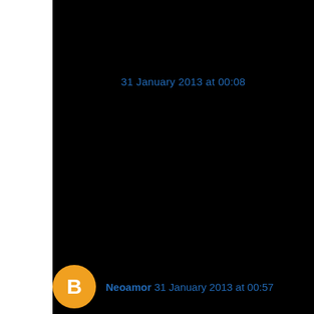31 January 2013 at 00:08
Neoamor 31 January 2013 at 00:57